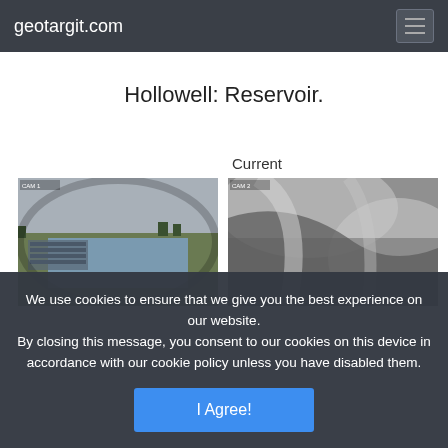geotargit.com
Hollowell: Reservoir.
Current
[Figure (photo): Outdoor fisheye CCTV camera view of Hollowell Reservoir showing water, green fields, and overcast sky]
[Figure (photo): Close-up grayscale CCTV camera image showing blurred mechanical or structural detail]
We use cookies to ensure that we give you the best experience on our website.
By closing this message, you consent to our cookies on this device in accordance with our cookie policy unless you have disabled them.
I Agree!